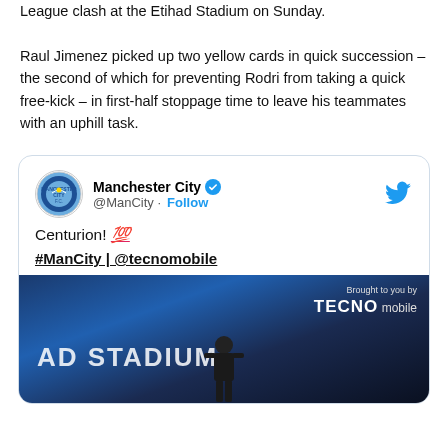League clash at the Etihad Stadium on Sunday.

Raul Jimenez picked up two yellow cards in quick succession – the second of which for preventing Rodri from taking a quick free-kick – in first-half stoppage time to leave his teammates with an uphill task.
[Figure (screenshot): Embedded tweet from Manchester City (@ManCity) with verified badge and Follow button. Tweet text: 'Centurion! 💯 #ManCity | @tecnomobile'. Below is a photo of a player at the Etihad Stadium with a TECNO mobile branding overlay.]